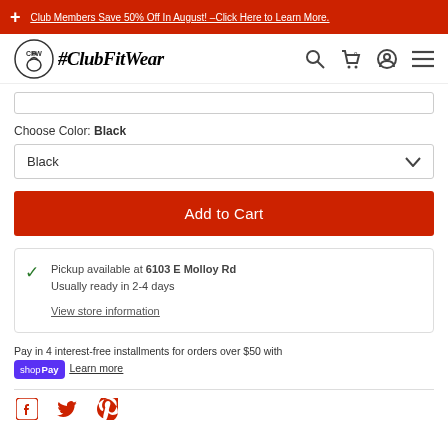Club Members Save 50% Off In August! –Click Here to Learn More.
[Figure (logo): ClubFitWear logo with kettlebell icon and hashtag text]
Choose Color: Black
Black (dropdown)
Add to Cart
Pickup available at 6103 E Molloy Rd
Usually ready in 2-4 days
View store information
Pay in 4 interest-free installments for orders over $50 with shop Pay Learn more
[Figure (other): Social media icons: Facebook, Twitter, Pinterest]